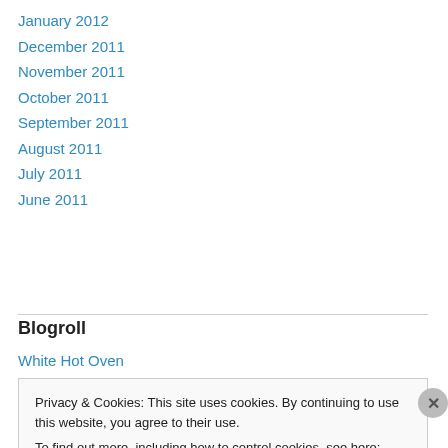January 2012
December 2011
November 2011
October 2011
September 2011
August 2011
July 2011
June 2011
Blogroll
White Hot Oven
Privacy & Cookies: This site uses cookies. By continuing to use this website, you agree to their use.
To find out more, including how to control cookies, see here: Cookie Policy
Close and accept